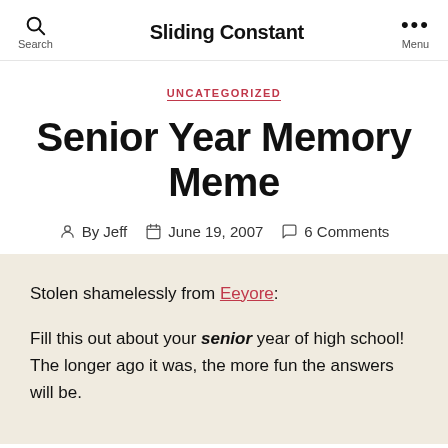Sliding Constant
UNCATEGORIZED
Senior Year Memory Meme
By Jeff   June 19, 2007   6 Comments
Stolen shamelessly from Eeyore:
Fill this out about your senior year of high school! The longer ago it was, the more fun the answers will be.